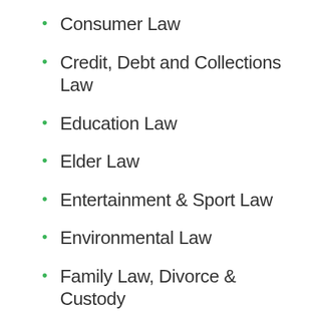Consumer Law
Credit, Debt and Collections Law
Education Law
Elder Law
Entertainment & Sport Law
Environmental Law
Family Law, Divorce & Custody
Family Medical Leave Act
Federal Tort Claims Act Litigation
General Civil Litigation
Health Care Law
Insurance Law